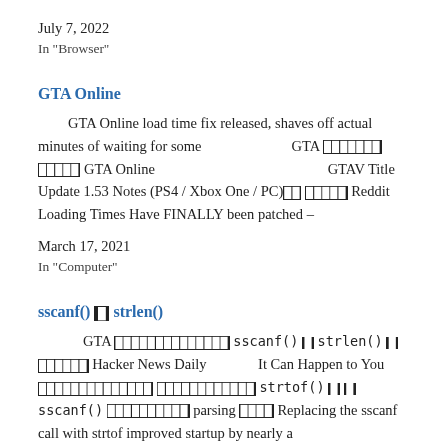July 7, 2022
In "Browser"
GTA Online
GTA Online load time fix released, shaves off actual minutes of waiting for some　　　　　　GTA 　　　　　　　　　GTA Online 　　　　　　　　　　　　　　　　　GTAV Title Update 1.53 Notes (PS4 / Xbox One / PC)　　 　　　　Reddit 　　　Loading Times Have FINALLY been patched –
March 17, 2021
In "Computer"
sscanf() 　 strlen()
GTA 　　　　　　　　　　　　　　 sscanf() 　 strlen() 　　　　　　 Hacker News Daily 　　　　　It Can Happen to You　　　　　　　　　　　 　　　　　　　　　　 strtof() 　　 sscanf() 　　　　　　　　　　 parsing 　　　 Replacing the sscanf call with strtof improved startup by nearly a